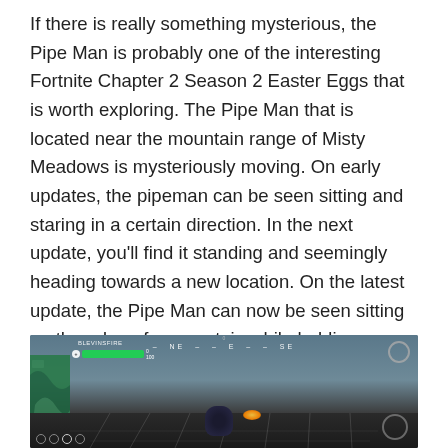If there is really something mysterious, the Pipe Man is probably one of the interesting Fortnite Chapter 2 Season 2 Easter Eggs that is worth exploring. The Pipe Man that is located near the mountain range of Misty Meadows is mysteriously moving. On early updates, the pipeman can be seen sitting and staring in a certain direction. In the next update, you'll find it standing and seemingly heading towards a new location. On the latest update, the Pipe Man can now be seen sitting on the edge of a mountain while holding a golden wrench. You can also spot some mysterious pipe structures just a few blocks from the Pipe man's current location.
[Figure (screenshot): Screenshot from Fortnite game showing a dark mountainous scene with HUD elements including health bar, compass showing NE-E-SE, map panel on the left, a glowing orb in the scene, and a character silhouette at the bottom center.]